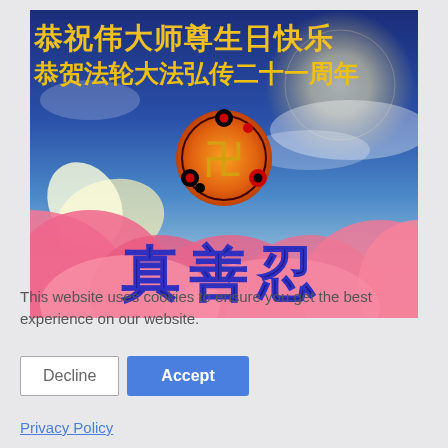[Figure (illustration): Falun Dafa celebratory banner with Chinese text '恭祝伟大师尊生日快乐' (top line, yellow) and '恭贺法轮大法弘传二十一周年' (second line, yellow) on a blue sky background with moon, clouds, pink lotus flowers at bottom, Falun emblem in center, and large Chinese characters '真善忍' (Truthfulness-Compassion-Forbearance) in dark blue at bottom.]
This website uses cookies to ensure you get the best experience on our website.
Privacy Policy